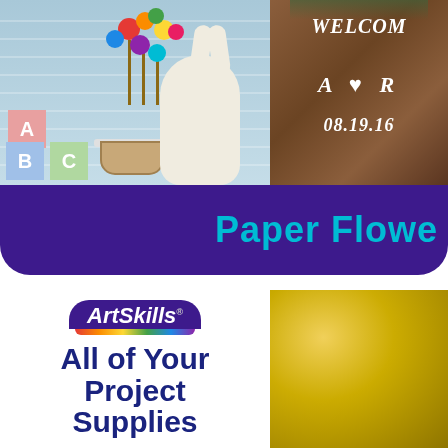[Figure (photo): Two craft/decoration photos side by side: left shows baby blocks (A, B, C), a stuffed bunny toy, and a button flower arrangement in a basket against a blue louvered background; right shows a wooden wedding sign reading WELCOME, A heart R, 08.19.16]
Paper Flowe
[Figure (logo): ArtSkills logo with rainbow arc and blue badge, followed by bold navy text reading 'All of Your Project Supplies']
[Figure (photo): Blurred photo of yellow flowers or craft supplies]